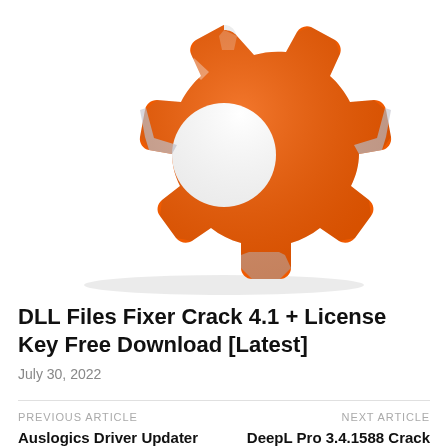[Figure (illustration): Orange gear/cog icon with metallic silver highlights on a white background, shown from a slightly bottom-facing angle. The gear has rounded teeth and a circular center.]
DLL Files Fixer Crack 4.1 + License Key Free Download [Latest]
July 30, 2022
PREVIOUS ARTICLE
Auslogics Driver Updater 1.25 Crack + License Key [Latest]
NEXT ARTICLE
DeepL Pro 3.4.1588 Crack with Full License Key Free Download [Latest]